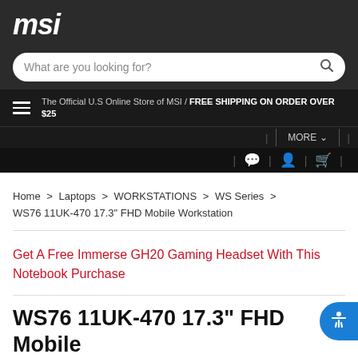msi
What are you looking for?
The Official U.S Online Store of MSI / FREE SHIPPING ON ORDER OVER $25
MORE
Home > Laptops > WORKSTATIONS > WS Series > WS76 11UK-470 17.3" FHD Mobile Workstation
Get A Free Immerse GH20 Gaming Headset With This Notebook Purchase
WS76 11UK-470 17.3" FHD Mobile Workstation